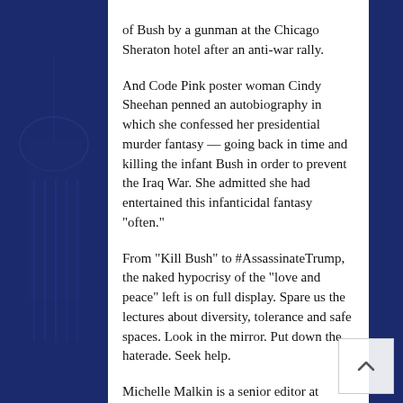of Bush by a gunman at the Chicago Sheraton hotel after an anti-war rally.
And Code Pink poster woman Cindy Sheehan penned an autobiography in which she confessed her presidential murder fantasy — going back in time and killing the infant Bush in order to prevent the Iraq War. She admitted she had entertained this infanticidal fantasy “offten.”
From “Kill Bush” to #AssassinateTrump, the naked hypocrisy of the “love and peace” left is on full display. Spare us the lectures about diversity, tolerance and safe spaces. Look in the mirror. Put down the haterade. Seek help.
Michelle Malkin is a senior editor at